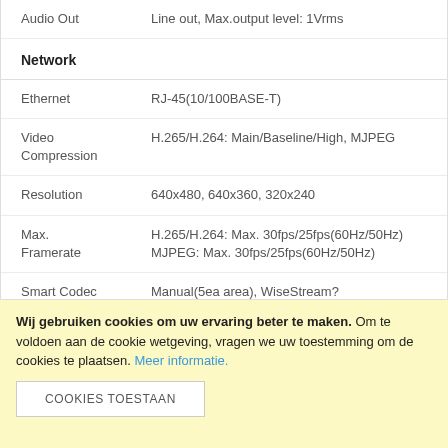| Property | Value |
| --- | --- |
| Audio Out | Line out, Max.output level: 1Vrms |
| Network |  |
| Ethernet | RJ-45(10/100BASE-T) |
| Video Compression | H.265/H.264: Main/Baseline/High, MJPEG |
| Resolution | 640x480, 640x360, 320x240 |
| Max. Framerate | H.265/H.264: Max. 30fps/25fps(60Hz/50Hz)
MJPEG: Max. 30fps/25fps(60Hz/50Hz) |
| Smart Codec | Manual(5ea area), WiseStream? |
| Bitrate Control | H.264/H.265: CBR or VBR
MJPEG: VBR |
Wij gebruiken cookies om uw ervaring beter te maken. Om te voldoen aan de cookie wetgeving, vragen we uw toestemming om de cookies te plaatsen. Meer informatie.
COOKIES TOESTAAN